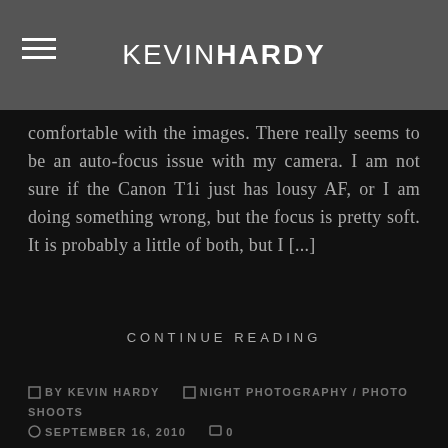KEVIN HARDY
comfortable with the images. There really seems to be an auto-focus issue with my camera. I am not sure if the Canon T1i just has lousy AF, or I am doing something wrong, but the focus is pretty soft. It is probably a little of both, but I [...]
CONTINUE READING
BY KEVIN HARDY  NIGHT PHOTOGRAPHY / PHOTO SHOOTS  SEPTEMBER 16, 2010  0